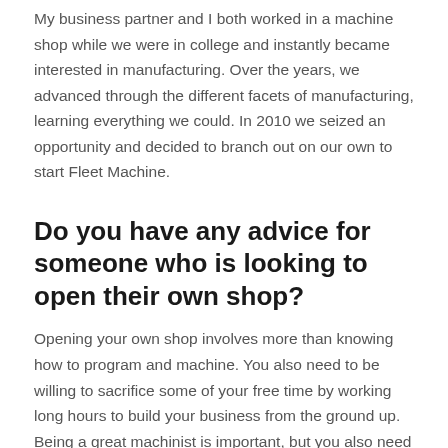My business partner and I both worked in a machine shop while we were in college and instantly became interested in manufacturing. Over the years, we advanced through the different facets of manufacturing, learning everything we could. In 2010 we seized an opportunity and decided to branch out on our own to start Fleet Machine.
Do you have any advice for someone who is looking to open their own shop?
Opening your own shop involves more than knowing how to program and machine. You also need to be willing to sacrifice some of your free time by working long hours to build your business from the ground up. Being a great machinist is important, but you also need to understand the basics of business, and you need to be able to sell your service and maintain a certain level of quality to